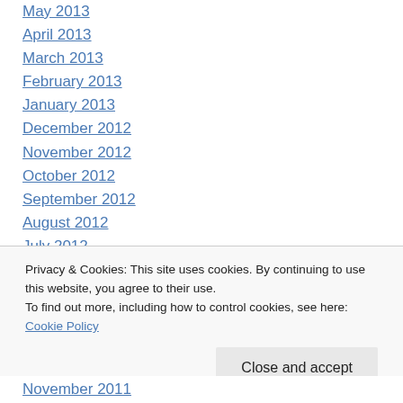May 2013
April 2013
March 2013
February 2013
January 2013
December 2012
November 2012
October 2012
September 2012
August 2012
July 2012
June 2012
May 2012
November 2011
Privacy & Cookies: This site uses cookies. By continuing to use this website, you agree to their use.
To find out more, including how to control cookies, see here: Cookie Policy
Close and accept